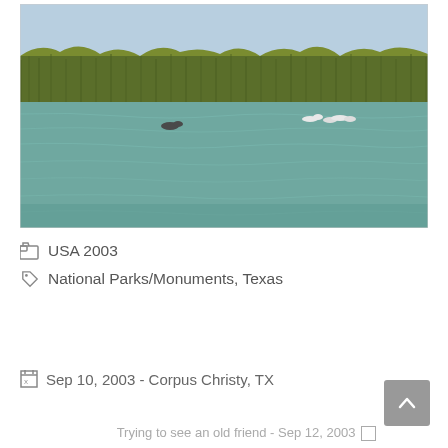[Figure (photo): Outdoor nature photo showing a large body of water (bay or lake) with birds floating on the surface, and a dense line of tall marsh reeds/grass along the far shore under a clear blue sky.]
USA 2003
National Parks/Monuments, Texas
Sep 10, 2003 - Corpus Christy, TX
Trying to see an old friend - Sep 12, 2003